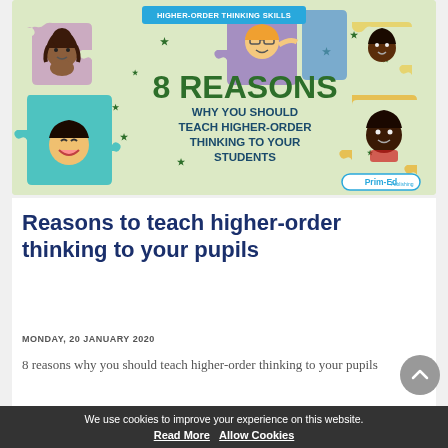[Figure (illustration): Educational banner showing cartoon children holding puzzle pieces on a light green background. Text reads '8 REASONS WHY YOU SHOULD TEACH HIGHER-ORDER THINKING TO YOUR STUDENTS' with a 'HIGHER-ORDER THINKING SKILLS' label at top and 'Prim-Ed Publishing' badge at bottom right. Green star decorations throughout.]
Reasons to teach higher-order thinking to your pupils
MONDAY, 20 JANUARY 2020
8 reasons why you should teach higher-order thinking to your pupils
Read More »
We use cookies to improve your experience on this website. Read More  Allow Cookies